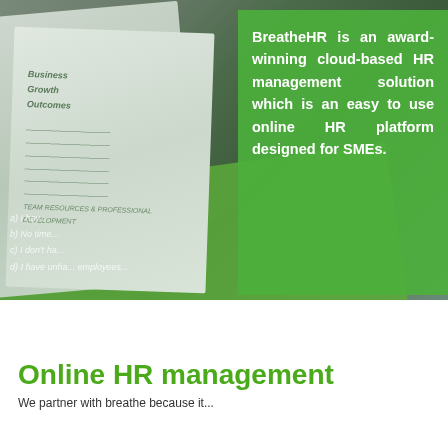[Figure (photo): Photograph of green and white printed cards/papers on a table. A green overlay box on the right side contains white bold text describing BreatheHR. The left side shows business cards or worksheets with text about 'Business Growth Outcomes' and quiz options (a, b, c, d).]
BreatheHR is an award-winning cloud-based HR management solution which is an easy to use online HR platform designed for SMEs.
Online HR management
We partner with breathe because it...